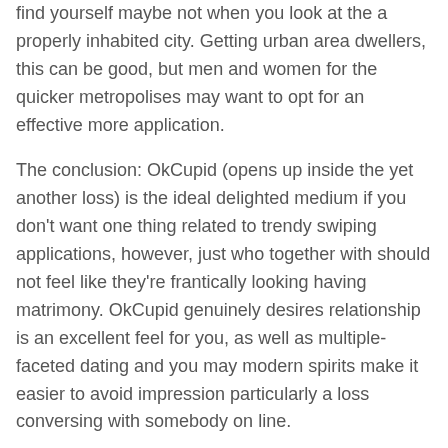find yourself maybe not when you look at the a properly inhabited city. Getting urban area dwellers, this can be good, but men and women for the quicker metropolises may want to opt for an effective more application.
The conclusion: OkCupid (opens up inside the yet another loss) is the ideal delighted medium if you don't want one thing related to trendy swiping applications, however, just who together with should not feel like they're frantically looking having matrimony. OkCupid genuinely desires relationship is an excellent feel for you, as well as multiple-faceted dating and you may modern spirits make it easier to avoid impression particularly a loss conversing with somebody on line.
Free has actually: 8 likes daily, pick whom enjoyed your one at a time, endless chatting, very appropriate pairings, filter basic tastes
A month off Popular: $
90 days from Common: $ ($ monthly)